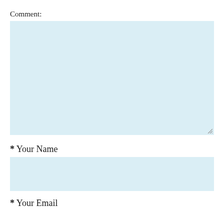Comment:
[Figure (other): Large empty comment text area with light blue background and resize handle in bottom-right corner]
* Your Name
[Figure (other): Empty name input field with light blue background]
* Your Email